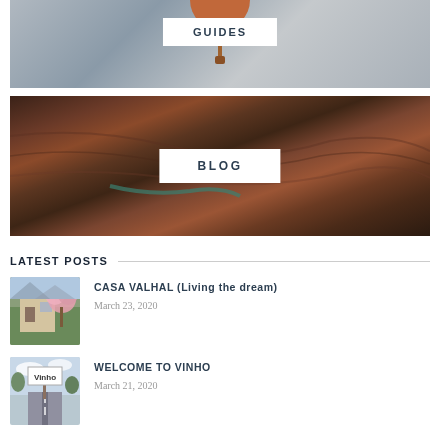[Figure (photo): GUIDES banner with snowy mountain background and brown/rust colored element at top, white label box with text GUIDES]
[Figure (photo): BLOG banner with aerial canyon landscape showing red/brown earth tones and green river, white label box with text BLOG]
LATEST POSTS
[Figure (photo): Thumbnail of Casa Valhal post showing building with pink flowering trees]
CASA VALHAL (Living the dream)
March 23, 2020
[Figure (photo): Thumbnail of Welcome to Vinho post showing road sign reading Vinho]
WELCOME TO VINHO
March 21, 2020